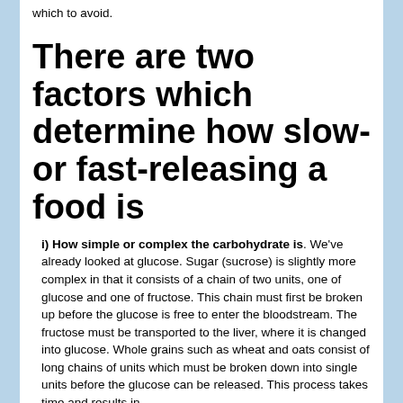which to avoid.
There are two factors which determine how slow- or fast-releasing a food is
i) How simple or complex the carbohydrate is. We've already looked at glucose. Sugar (sucrose) is slightly more complex in that it consists of a chain of two units, one of glucose and one of fructose. This chain must first be broken up before the glucose is free to enter the bloodstream. The fructose must be transported to the liver, where it is changed into glucose. Whole grains such as wheat and oats consist of long chains of units which must be broken down into single units before the glucose can be released. This process takes time and results in